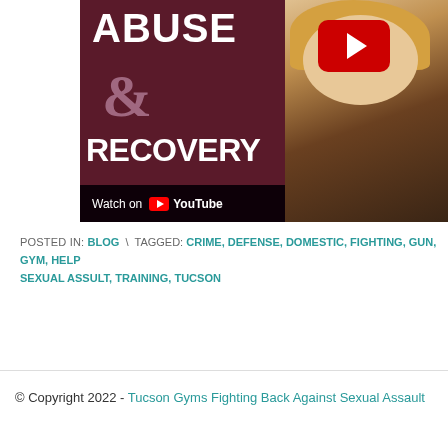[Figure (screenshot): YouTube video thumbnail showing 'ABUSE & RECOVERY' text on dark maroon background with a woman visible on the right side. A red YouTube play button overlay is visible in the top right. 'Watch on YouTube' text appears at bottom of thumbnail.]
POSTED IN: BLOG \ TAGGED: CRIME, DEFENSE, DOMESTIC, FIGHTING, GUN, GYM, HELP, SEXUAL ASSULT, TRAINING, TUCSON
© Copyright 2022 - Tucson Gyms Fighting Back Against Sexual Assault